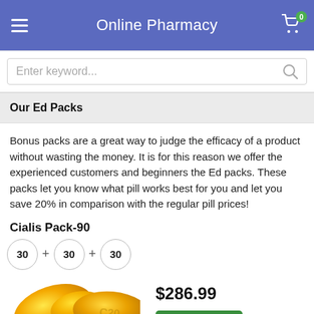Online Pharmacy
Enter keyword...
Our Ed Packs
Bonus packs are a great way to judge the efficacy of a product without wasting the money. It is for this reason we offer the experienced customers and beginners the Ed packs. These packs let you know what pill works best for you and let you save 20% in comparison with the regular pill prices!
Cialis Pack-90
30 + 30 + 30
[Figure (photo): Three yellow oval Cialis pills with C20 imprint, stacked with reflection]
$286.99
Buy Now
Cialis Pack is a combination of three most potent varieties of